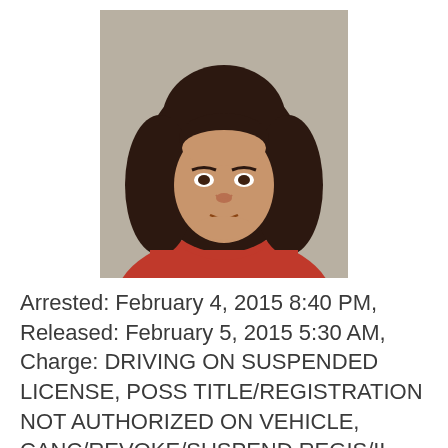[Figure (photo): Mugshot photo of a woman with long curly dark hair wearing a red top, against a gray background]
Arrested: February 4, 2015 8:40 PM, Released: February 5, 2015 5:30 AM, Charge: DRIVING ON SUSPENDED LICENSE, POSS TITLE/REGISTRATION NOT AUTHORIZED ON VEHICLE, CANC/REVOKE/SUSPEND REGIS/IL , INSURANCE - OPERATE MTR VEHICLE WITHOUT, DRIVING WHILE USING CELLULAR PHONE P, Address: 801